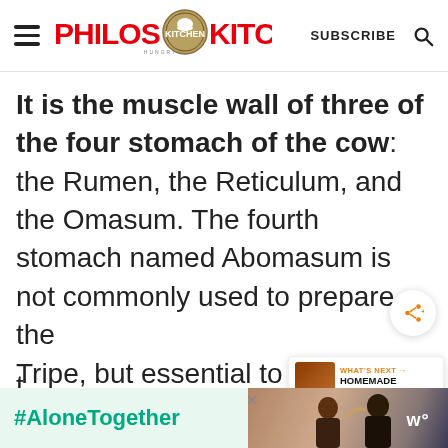PHILOS KITCHEN — SUBSCRIBE
It is the muscle wall of three of the four stomach of the cow: the Rumen, the Reticulum, and the Omasum. The fourth stomach named Abomasum is not commonly used to prepare the Tripe, but essential to making another popular Florentine delight:
[Figure (screenshot): Ad banner with #AloneTogether hashtag and people photo]
[Figure (infographic): What's Next card: Homemade Sun-Dried...]
[Figure (infographic): Share button overlay (circular button with share icon)]